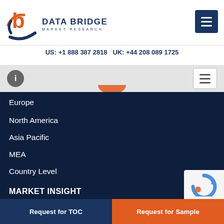DATA BRIDGE MARKET RESEARCH
US: +1 888 387 2818 UK: +44 208 089 1725
Europe
North America
Asia Pacific
MEA
Country Level
MARKET INSIGHT
COVID-19 Resources
Blog
Request for TOC
Request for Sample